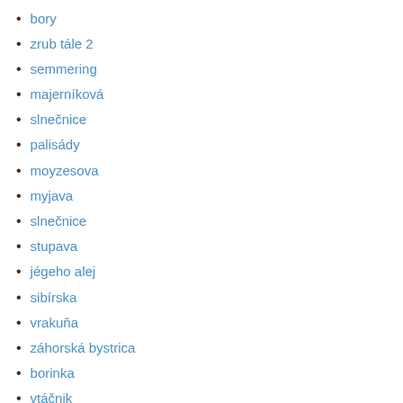bory
zrub tále 2
semmering
majerníková
slnečnice
palisády
moyzesova
myjava
slnečnice
stupava
jégeho alej
sibírska
vrakuňa
záhorská bystrica
borinka
vtáčnik
cintorínska podkrovie
rusovce
slnečnice IIII
mierová
slnečnice V
blumentálska